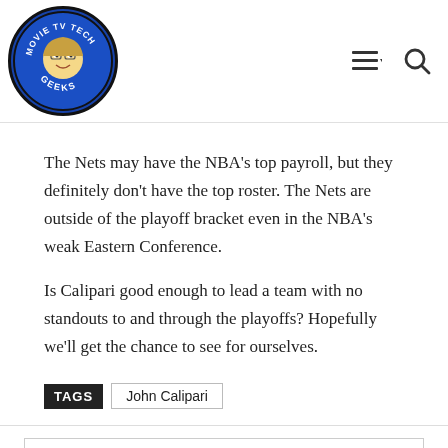Movie TV Tech Geeks logo with hamburger menu and search icon
The Nets may have the NBA's top payroll, but they definitely don't have the top roster. The Nets are outside of the playoff bracket even in the NBA's weak Eastern Conference.
Is Calipari good enough to lead a team with no standouts to and through the playoffs? Hopefully we'll get the chance to see for ourselves.
TAGS  John Calipari
[Figure (photo): Photo of Chris Maurice holding trophies]
Chris Maurice
https://movietvtechgeeks.com/